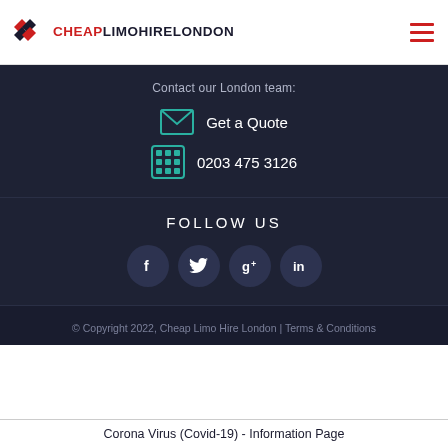CHEAPLIMOHIRELONDON
Contact our London team:
Get a Quote
0203 475 3126
FOLLOW US
[Figure (infographic): Social media icons: Facebook, Twitter, Google+, LinkedIn in dark circular buttons]
© Copyright 2022, Cheap Limo Hire London | Terms & Conditions
Corona Virus (Covid-19) - Information Page